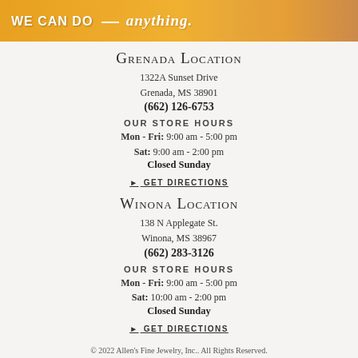[Figure (photo): Banner with orange/golden background, text 'WE CAN DO anything.' in white, couple in background on right side]
Grenada Location
1322A Sunset Drive
Grenada, MS 38901
(662) 126-6753
OUR STORE HOURS
Mon - Fri: 9:00 am - 5:00 pm
Sat: 9:00 am - 2:00 pm
Closed Sunday
▶ GET DIRECTIONS
Winona Location
138 N Applegate St.
Winona, MS 38967
(662) 283-3126
OUR STORE HOURS
Mon - Fri: 9:00 am - 5:00 pm
Sat: 10:00 am - 2:00 pm
Closed Sunday
▶ GET DIRECTIONS
© 2022 Allen's Fine Jewelry, Inc.. All Rights Reserved.
Website designed, maintained, and hosted by Punchmark. Accessibility Statement.